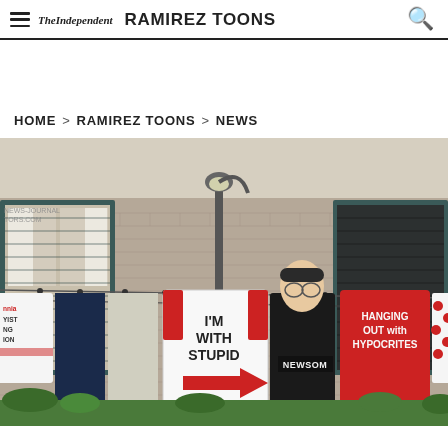TheIndependent  RAMIREZ TOONS
HOME > RAMIREZ TOONS > NEWS
[Figure (illustration): Editorial cartoon by Ramirez showing a man labeled 'NEWSOM' standing between clotheslines outside a building with shuttered windows. Hanging laundry includes: a white shirt reading 'I'M WITH STUPID' with a red arrow pointing right, a red shirt reading 'HANGING OUT WITH HYPOCRITES', and other garments. Watermark reads 'NEWS-JOURNAL TORS.COM'.]